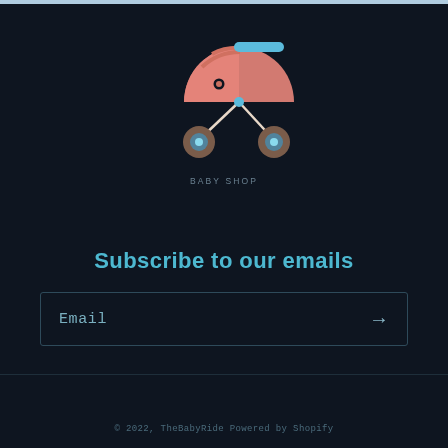[Figure (logo): Baby stroller/pram illustration in pink and salmon color with blue handle and brown wheels with blue hubcaps, on dark background]
BABY SHOP
Subscribe to our emails
Email →
© 2022, TheBabyRide Powered by Shopify